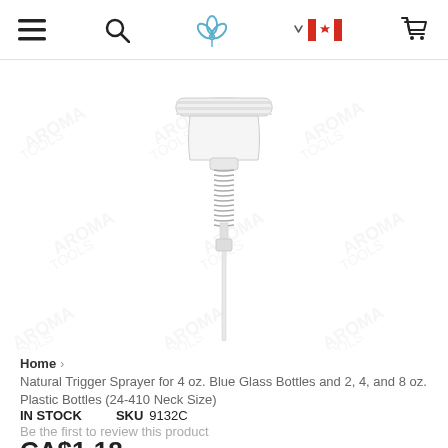Navigation bar with menu, search, logo, Canada flag, and cart icons
[Figure (photo): Close-up product photo of a natural trigger sprayer (clear plastic pump sprayer) with a coiled spring stem and dip tube, on a white background with repeated AROMA TOOLS watermarks]
Home › Natural Trigger Sprayer for 4 oz. Blue Glass Bottles and 2, 4, and 8 oz. Plastic Bottles (24-410 Neck Size)
IN STOCK   SKU  9132C
Be the first to review this product
CA$1.18